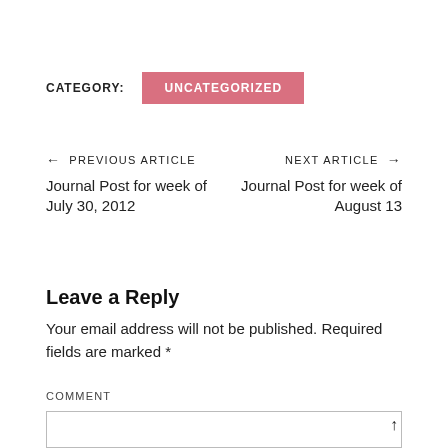CATEGORY:  UNCATEGORIZED
← PREVIOUS ARTICLE    NEXT ARTICLE →
Journal Post for week of July 30, 2012    Journal Post for week of August 13
Leave a Reply
Your email address will not be published. Required fields are marked *
COMMENT